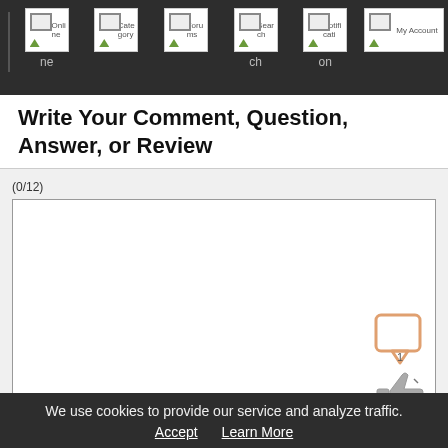Online | Category | Forums | Search | Notification | My Account
Write Your Comment, Question, Answer, or Review
(0/12)
Enter comment, review or question.
Send ▶
We use cookies to provide our service and analyze traffic. Accept  Learn More